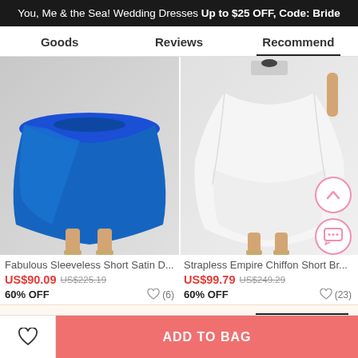You, Me & the Sea! Wedding Dresses Up to $25 OFF, Code: Bride
Goods    Reviews    Recommend
[Figure (photo): Blue sleeveless short satin dress on model, showing skirt and legs]
[Figure (photo): White strapless empire chiffon short dress on model, showing skirt and legs]
Fabulous Sleeveless Short Satin D...
Strapless Empire Chiffon Short Br...
US$90.09  US$225.19  60% OFF  ♡ (6)
US$99.79  US$249.29  60% OFF  ♡ (23)
× Get $5 off for your first order!
CLAIM NOW
ADD TO BAG